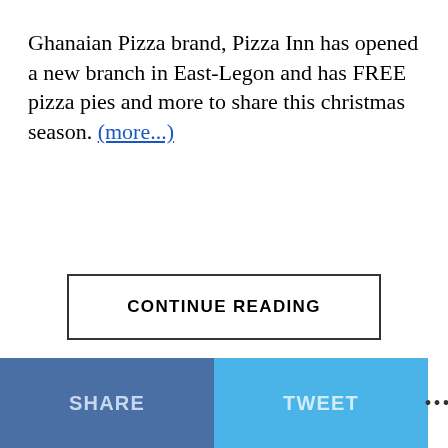Ghanaian Pizza brand, Pizza Inn has opened a new branch in East-Legon and has FREE pizza pies and more to share this christmas season. (more...)
CONTINUE READING
SHARE   TWEET   ...